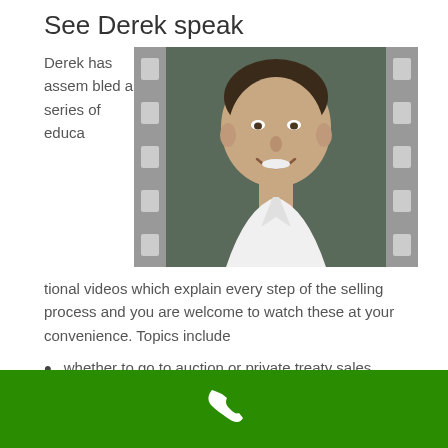See Derek speak
[Figure (photo): Film strip frame containing a headshot photo of a smiling man (Derek) in a white shirt against a dark background.]
Derek has assembled a series of educational videos which explain every step of the selling process and you are welcome to watch these at your convenience. Topics include
whether to go to auction or private treaty sales,
preparing a property for sale,
tips for buyers and sellers at an auction and many more.
[Figure (illustration): Green footer bar with a white telephone/phone icon in the center.]